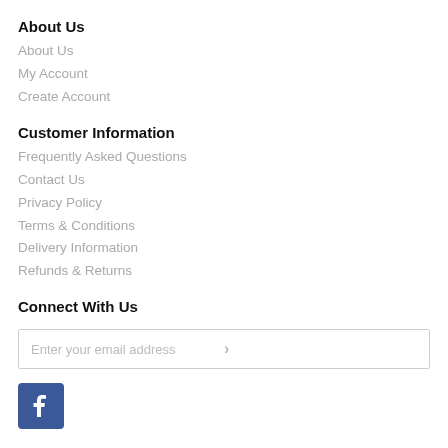About Us
About Us
My Account
Create Account
Customer Information
Frequently Asked Questions
Contact Us
Privacy Policy
Terms & Conditions
Delivery Information
Refunds & Returns
Connect With Us
Enter your email address
[Figure (logo): Facebook logo icon — white 'f' on blue square background]
Get In Touch